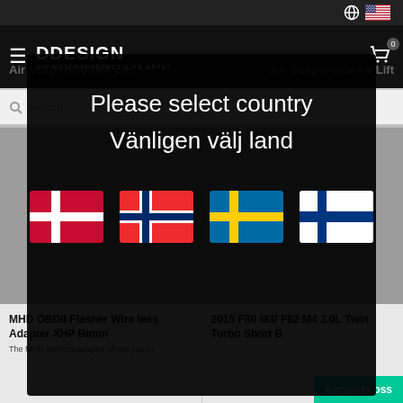DDesign - Din motorsportbutik på nätet
[Figure (screenshot): Website header with DDesign logo, hamburger menu, cart icon, and language/country selectors]
[Figure (infographic): Country selection modal overlay with text 'Please select country' and 'Vänligen välj land', showing four flags: Denmark, Norway, Sweden, Finland]
MHD OBDII Flasher Wire less Adapter XHP Bimm
The MHD wireless adapter allows you to
2015 F80 M3/ F82 M4 3.0L Twin Turbo Short B
Kontakta oss